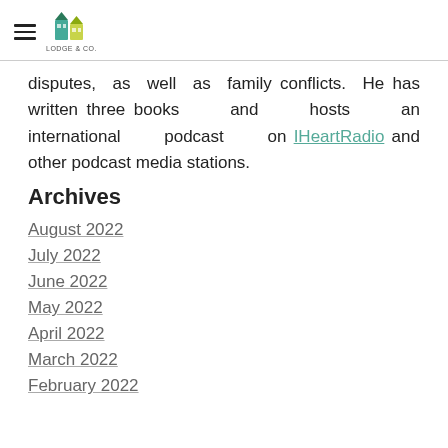LODGE & CO.
disputes, as well as family conflicts. He has written three books and hosts an international podcast on IHeartRadio and other podcast media stations.
Archives
August 2022
July 2022
June 2022
May 2022
April 2022
March 2022
February 2022